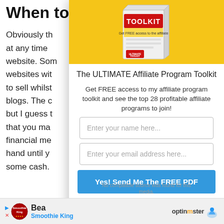When to
Obviously th at any time website. Som websites wit to sell whilst blogs. The c but I guess t that you ma financial me hand until y some cash.
[Figure (illustration): The ULTIMATE Affiliate Program Toolkit box product image on yellow background]
The ULTIMATE Affiliate Program Toolkit
Get FREE access to my affiliate program toolkit and see the top 28 profitable affiliate programs to join!
Enter your name here...
Enter your email address here...
Yes! Send Me The FREE PDF
No compatible source was found for this media.
Bea  Smoothie King  optinmonster